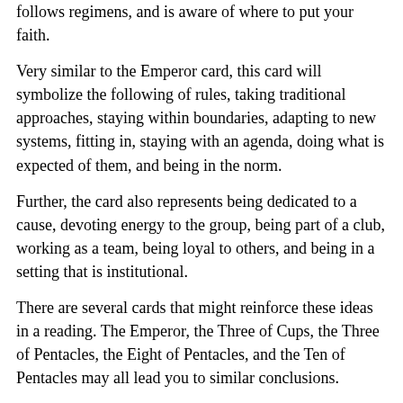follows regimens, and is aware of where to put your faith.
Very similar to the Emperor card, this card will symbolize the following of rules, taking traditional approaches, staying within boundaries, adapting to new systems, fitting in, staying with an agenda, doing what is expected of them, and being in the norm.
Further, the card also represents being dedicated to a cause, devoting energy to the group, being part of a club, working as a team, being loyal to others, and being in a setting that is institutional.
There are several cards that might reinforce these ideas in a reading. The Emperor, the Three of Cups, the Three of Pentacles, the Eight of Pentacles, and the Ten of Pentacles may all lead you to similar conclusions.
2) Cards that Mean the Opposite of the Hierophant
As we have already talked about, the Hierophant card represents a person who has traditional values and does things by the book. In no way does this card represent a person that is carefree and against the norm.
There are some Tarot cards that mean the opposite of what the Hierophant card means. They are the: